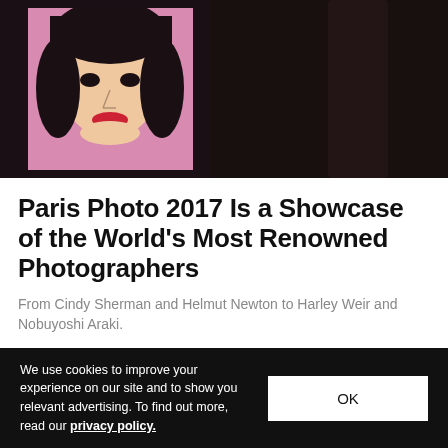[Figure (photo): Top photo: Dark background with a Warhol-style pop art portrait on a pink canvas, showing a woman with black hair and red lips, person standing behind in dark clothing]
Paris Photo 2017 Is a Showcase of the World's Most Renowned Photographers
From Cindy Sherman and Helmut Newton to Harley Weir and Nobuyoshi Araki.
Nov 11, 2017   🔥 2.5K  💬 0
[Figure (photo): Second photo: Person wearing a dark navy beanie/knit hat with a small gold pin/button, light gray background]
We use cookies to improve your experience on our site and to show you relevant advertising. To find out more, read our privacy policy.